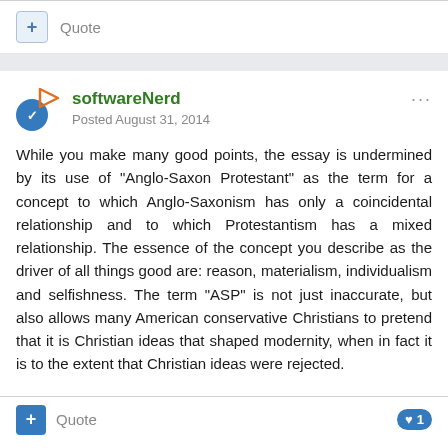Quote
softwareNerd
Posted August 31, 2014
While you make many good points, the essay is undermined by its use of "Anglo-Saxon Protestant" as the term for a concept to which Anglo-Saxonism has only a coincidental relationship and to which Protestantism has a mixed relationship. The essence of the concept you describe as the driver of all things good are: reason, materialism, individualism and selfishness. The term "ASP" is not just inaccurate, but also allows many American conservative Christians to pretend that it is Christian ideas that shaped modernity, when in fact it is to the extent that Christian ideas were rejected.
Quote